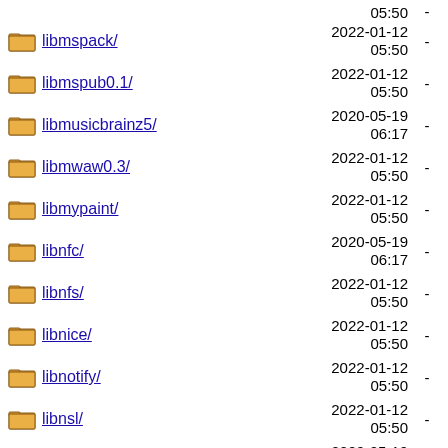libmspack/ 2022-01-12 05:50 -
libmspub0.1/ 2022-01-12 05:50 -
libmusicbrainz5/ 2020-05-19 06:17 -
libmwaw0.3/ 2022-01-12 05:50 -
libmypaint/ 2022-01-12 05:50 -
libnfc/ 2020-05-19 06:17 -
libnfs/ 2022-01-12 05:50 -
libnice/ 2022-01-12 05:50 -
libnotify/ 2022-01-12 05:50 -
libnsl/ 2022-01-12 05:50 -
libntlm/ 2020-05-19 06:17 -